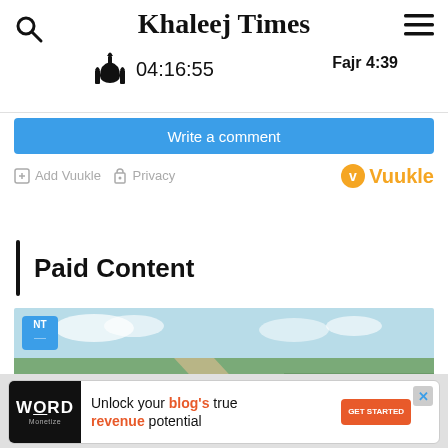Khaleej Times
Fajr 4:39
04:16:55
Write a comment
Add Vuukle   Privacy   Vuukle
Paid Content
[Figure (photo): Aerial landscape photo with NT badge overlay and Advertisement label]
[Figure (infographic): Bottom advertisement banner: Word Monetize - Unlock your blog's true revenue potential. GET STARTED button.]